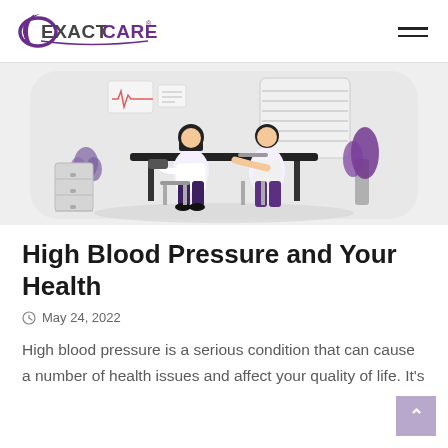[Figure (logo): ExactCare logo with purple crescent and bold text]
[Figure (illustration): Flat vector illustration of a doctor taking a patient's blood pressure at a desk, with plants and window in background, on a light gray rounded rectangle]
High Blood Pressure and Your Health
May 24, 2022
High blood pressure is a serious condition that can cause a number of health issues and affect your quality of life. It's